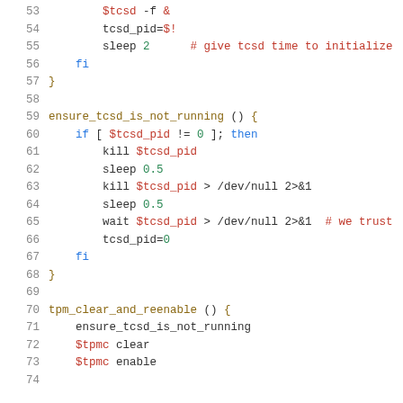[Figure (screenshot): Shell script source code lines 53-73, showing functions for managing tcsd process and TPM operations. Syntax-highlighted in monospace font with line numbers in gray, keywords in blue, variables/comments in red, numbers in green, function names in brown.]